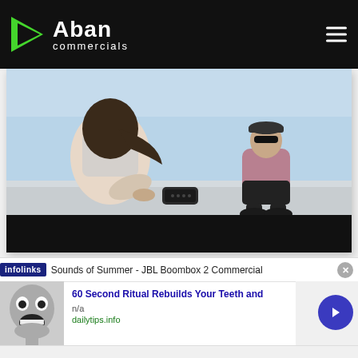Aban commercials
[Figure (photo): Two people outdoors near water on a sunny day. Person on left crouching near a JBL Boombox speaker, person on right sitting in background wearing sunglasses. Bottom portion has a black video player bar.]
Sounds of Summer - JBL Boombox 2 Commercial
[Figure (photo): Ad thumbnail showing a black and white close-up of a man's face with wide eyes and open mouth showing teeth.]
60 Second Ritual Rebuilds Your Teeth and
n/a
dailytips.info